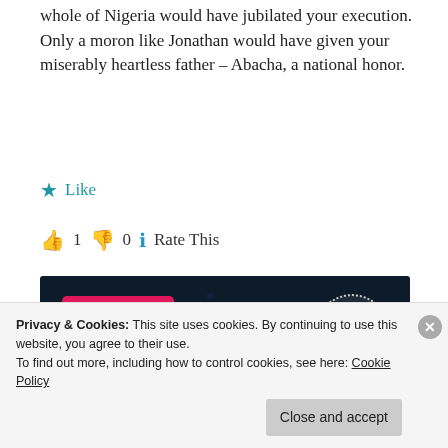whole of Nigeria would have jubilated your execution. Only a moron like Jonathan would have given your miserably heartless father – Abacha, a national honor.
★ Like
👍 1 👎 0 ℹ Rate This
[Figure (screenshot): Dark blue advertisement banner with a pink 'Start now' button and a circular 'CROWD' logo on the right. Overlapping ad text reads 'Search, browse, and email with more privacy. All in One Free App' with a DuckDuckGo logo.]
Privacy & Cookies: This site uses cookies. By continuing to use this website, you agree to their use.
To find out more, including how to control cookies, see here: Cookie Policy
Close and accept